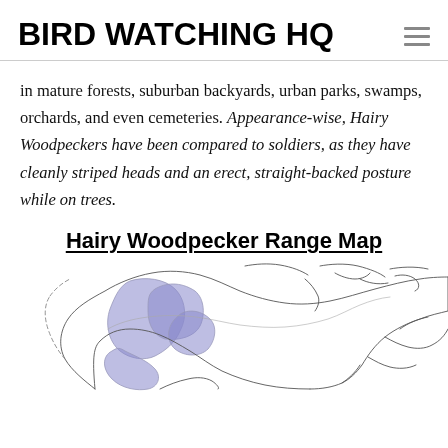BIRD WATCHING HQ
in mature forests, suburban backyards, urban parks, swamps, orchards, and even cemeteries. Appearance-wise, Hairy Woodpeckers have been compared to soldiers, as they have cleanly striped heads and an erect, straight-backed posture while on trees.
Hairy Woodpecker Range Map
[Figure (map): Hairy Woodpecker range map showing distribution across North America, with a purple shaded region indicating year-round or breeding range, and outline showing full range extent.]